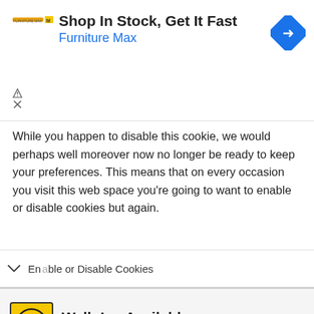[Figure (advertisement): Furniture Max ad: 'Shop In Stock, Get It Fast' with blue navigation arrow icon and Furniture Max logo]
While you happen to disable this cookie, we would perhaps well moreover now no longer be ready to keep your preferences. This means that on every occasion you visit this web space you're going to want to enable or disable cookies but again.
Enable or Disable Cookies
[Figure (advertisement): Hair Cuttery ad: 'Walk-Ins Available' with HC logo and blue navigation arrow icon]